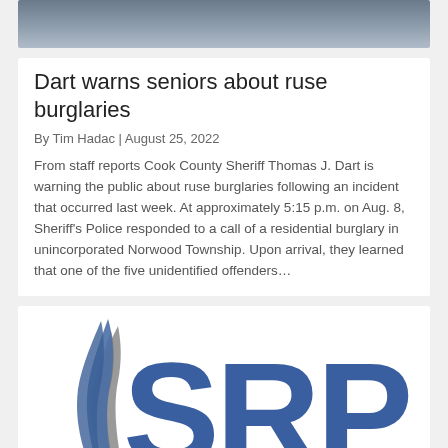[Figure (photo): Cropped photo of a person in a light blue shirt, upper torso and partial head visible, dark background.]
Dart warns seniors about ruse burglaries
By Tim Hadac | August 25, 2022
From staff reports Cook County Sheriff Thomas J. Dart is warning the public about ruse burglaries following an incident that occurred last week. At approximately 5:15 p.m. on Aug. 8, Sheriff's Police responded to a call of a residential burglary in unincorporated Norwood Township. Upon arrival, they learned that one of the five unidentified offenders…
[Figure (logo): SRP logo — stylized feather/flame icon in gray and blue to the left, large letters 'SRP' in bold blue to the right, partial view.]